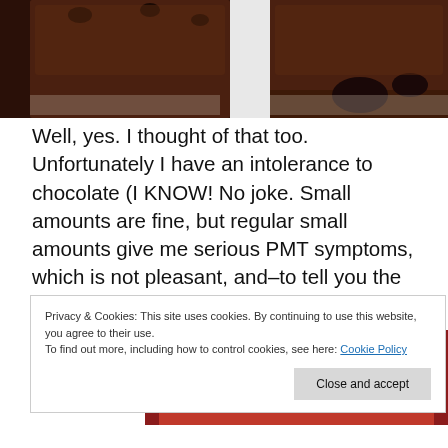[Figure (photo): Close-up photo of chocolate brownies with chocolate drizzle on a white surface]
Well, yes. I thought of that too. Unfortunately I have an intolerance to chocolate (I KNOW! No joke. Small amounts are fine, but regular small amounts give me serious PMT symptoms, which is not pleasant, and–to tell you the truth–possibly contributed to the reason I was feeling so bad the other day in the first place).
[Figure (screenshot): Red advertisement banner with text 'everyone else's.' crossed out and a 'Start reading' button]
Privacy & Cookies: This site uses cookies. By continuing to use this website, you agree to their use.
To find out more, including how to control cookies, see here: Cookie Policy
Close and accept